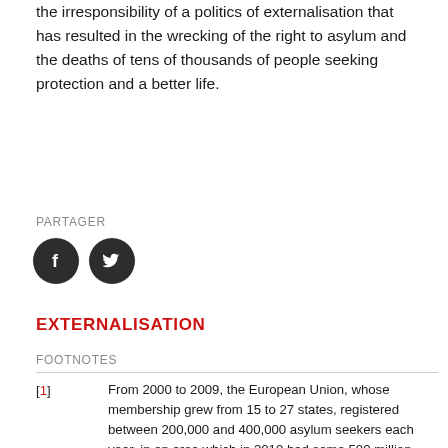the irresponsibility of a politics of externalisation that has resulted in the wrecking of the right to asylum and the deaths of tens of thousands of people seeking protection and a better life.
PARTAGER
[Figure (illustration): Two dark circular social media icons: Facebook (f logo) and Twitter (bird logo)]
EXTERNALISATION
FOOTNOTES
[1] From 2000 to 2009, the European Union, whose membership grew from 15 to 27 states, registered between 200,000 and 400,000 asylum seekers each year, in an area which in 2010 had some 500 million inhabitants.